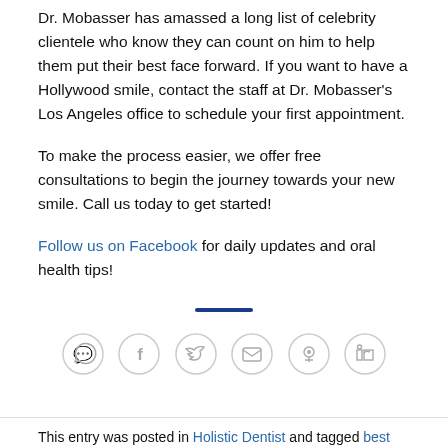Dr. Mobasser has amassed a long list of celebrity clientele who know they can count on him to help them put their best face forward. If you want to have a Hollywood smile, contact the staff at Dr. Mobasser's Los Angeles office to schedule your first appointment.
To make the process easier, we offer free consultations to begin the journey towards your new smile. Call us today to get started!
Follow us on Facebook for daily updates and oral health tips!
[Figure (infographic): A horizontal row of six social media icon buttons (WhatsApp, Facebook, Twitter, Email, Pinterest, LinkedIn) as circular outlined icons]
This entry was posted in Holistic Dentist and tagged best